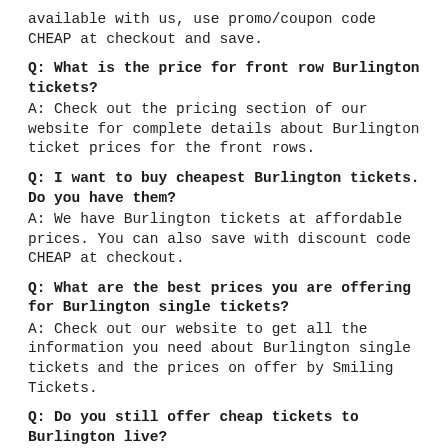available with us, use promo/coupon code CHEAP at checkout and save.
Q: What is the price for front row Burlington tickets?
A: Check out the pricing section of our website for complete details about Burlington ticket prices for the front rows.
Q: I want to buy cheapest Burlington tickets. Do you have them?
A: We have Burlington tickets at affordable prices. You can also save with discount code CHEAP at checkout.
Q: What are the best prices you are offering for Burlington single tickets?
A: Check out our website to get all the information you need about Burlington single tickets and the prices on offer by Smiling Tickets.
Q: Do you still offer cheap tickets to Burlington live?
A: Yes, check out the price list above on Burlington tickets page and order your tickets today!
Q: Do you sell Burlington parking passes?
A: Yes, check out our ticket inventory above and search for Burlington parking passes.